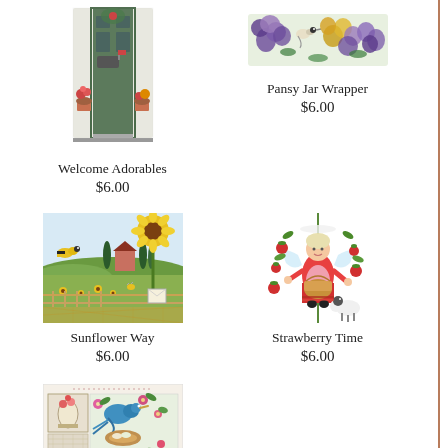[Figure (illustration): Cross-stitch pattern of a welcome door with potted flowers]
Welcome Adorables
$6.00
[Figure (illustration): Cross-stitch pattern of pansies with a bird, jar wrapper design]
Pansy Jar Wrapper
$6.00
[Figure (illustration): Cross-stitch pattern of a sunflower scene with a farmhouse, bird, and bee]
Sunflower Way
$6.00
[Figure (illustration): Cross-stitch pattern of a woman in red dress holding basket with strawberry plants and a sheep]
Strawberry Time
$6.00
[Figure (illustration): Cross-stitch pattern of a bird with flowers and decorative tile-like designs]